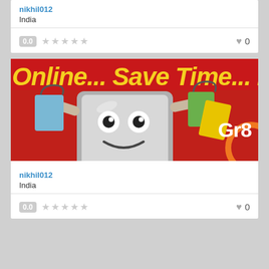nikhil012
India
0.0  ★★★★★  ♥ 0
[Figure (illustration): Promotional banner with red background showing a cartoon computer character holding shopping bags, text reads 'Online... Save Time... Ha' and 'Gr8' logo on right]
nikhil012
India
0.0  ★★★★★  ♥ 0